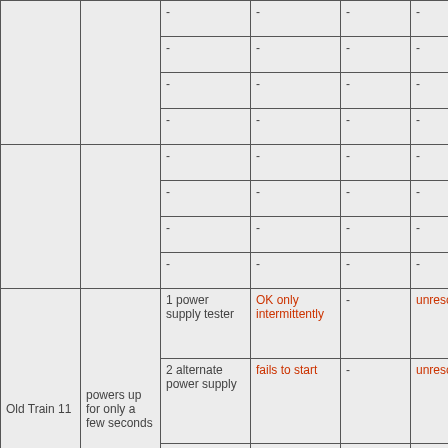| - | - | - | - | - | - |
| - | - | - | - | - | - |
| - | - | - | - | - | - |
| - | - | - | - | - | - |
| - | - | - | - | - | - |
| - | - | - | - | - | - |
| - | - | - | - | - | - |
| - | - | - | - | - | - |
| Old Train 11 | powers up for only a few seconds | 1 power supply tester | OK only intermittently | - | unresolved |
| Old Train 11 | powers up for only a few seconds | 2 alternate power supply | fails to start | - | unresolved |
| Old Train 11 | powers up for only a few seconds | 3 revert to original power | runs normally | - | intermittently & |